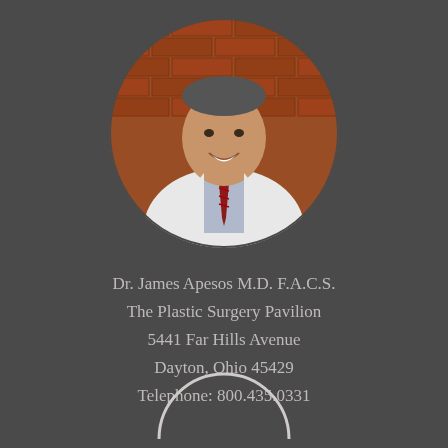[Figure (photo): Circular portrait photo of Dr. James Apesos in a white lab coat with a dark red striped tie, smiling, with a brick wall background and framed certificates visible.]
Dr. James Apesos M.D. F.A.C.S.
The Plastic Surgery Pavilion
5441 Far Hills Avenue
Dayton, Ohio 45429
Telephone: 800.435.0331
[Figure (photo): Partial circular outline/silhouette at the bottom of the page, showing just the top arc of a white circle border against the dark background.]